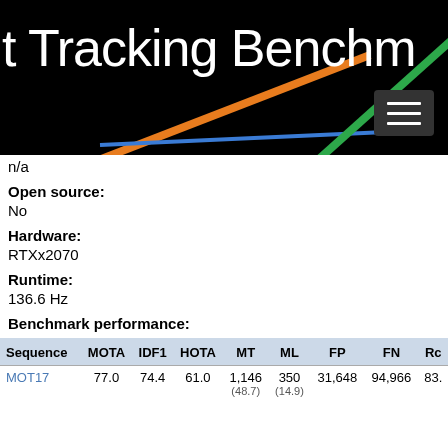[Figure (screenshot): Website header banner with title 't Tracking Benchm' (partial, cropped) on black background with diagonal colored lines (orange, blue, green) and a hamburger menu button]
n/a
Open source:
No
Hardware:
RTXx2070
Runtime:
136.6 Hz
Benchmark performance:
| Sequence | MOTA | IDF1 | HOTA | MT | ML | FP | FN | Rc |
| --- | --- | --- | --- | --- | --- | --- | --- | --- |
| MOT17 | 77.0 | 74.4 | 61.0 | 1,146 | 350 | 31,648 | 94,966 | 83. |
|  |  |  |  | (48.7) | (14.9) |  |  |  |